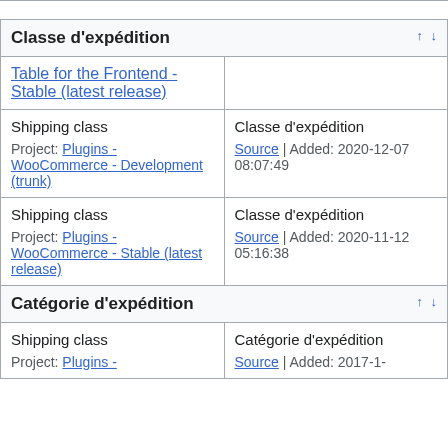Classe d'expédition
| Table for the Frontend - Stable (latest release) |  |
| Shipping class
Project: Plugins - WooCommerce - Development (trunk) | Classe d'expédition
Source | Added: 2020-12-07 08:07:49 |
| Shipping class
Project: Plugins - WooCommerce - Stable (latest release) | Classe d'expédition
Source | Added: 2020-11-12 05:16:38 |
Catégorie d'expédition
| Shipping class
Project: Plugins - | Catégorie d'expédition
Source | Added: 2017-1- |